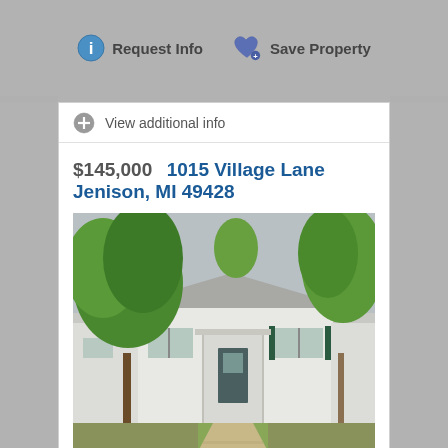Request Info
Save Property
View additional info
$145,000  1015 Village Lane Jenison, MI 49428
[Figure (photo): Exterior photo of a residential property at 1015 Village Lane, Jenison, MI 49428. A single-story house with white/cream siding, covered front entrance, green shutters, surrounded by large deciduous trees in summer foliage. Concrete walkway visible in foreground.]